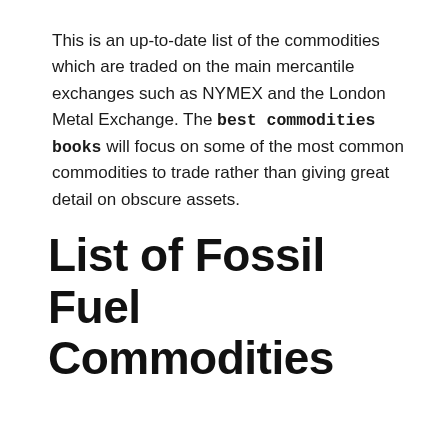This is an up-to-date list of the commodities which are traded on the main mercantile exchanges such as NYMEX and the London Metal Exchange. The best commodities books will focus on some of the most common commodities to trade rather than giving great detail on obscure assets.
List of Fossil Fuel Commodities